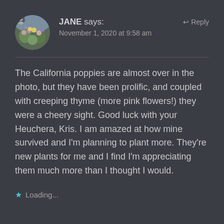JANE says: November 1, 2020 at 9:58 am ↩ Reply
The California poppies are almost over in the photo, but they have been prolific, and coupled with creeping thyme (more pink flowers!) they were a cheery sight. Good luck with your Heuchera, Kris. I am amazed at how mine survived and I'm planning to plant more. They're new plants for me and I find I'm appreciating them much more than I thought I would.
Loading...